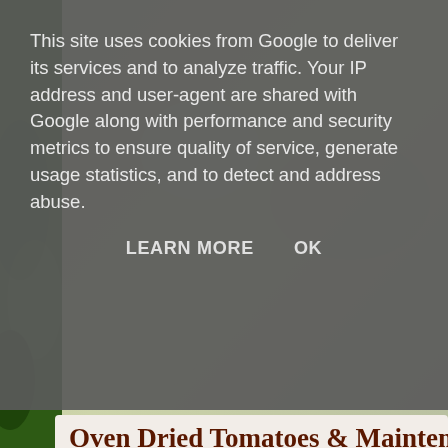This site uses cookies from Google to deliver its services and to analyze traffic. Your IP address and user-agent are shared with Google along with performance and security metrics to ensure quality of service, generate usage statistics, and to detect and address abuse.
LEARN MORE    OK
[Figure (photo): Background scene with green foliage on the left and a blurred light greenish-grey background on the right]
Oven Dried Tomatoes & Maintem
[Figure (photo): Close-up photo of oven-dried tomatoes in a jar with oil, showing deep red-orange color and glossy texture. Watermark reads '© hungry.gr' in diagonal italic text.]